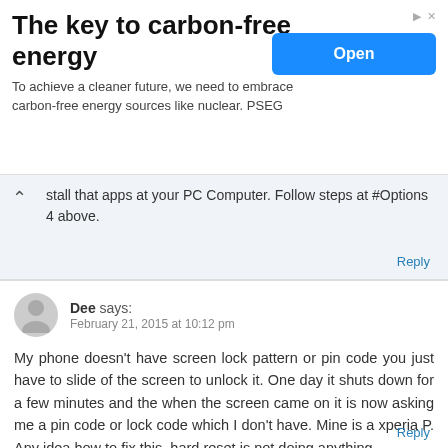[Figure (screenshot): Advertisement banner: 'The key to carbon-free energy' with Open button]
stall that apps at your PC Computer. Follow steps at #Options 4 above.
Dee says:
February 21, 2015 at 10:12 pm
My phone doesn't have screen lock pattern or pin code you just have to slide of the screen to unlock it. One day it shuts down for a few minutes and the when the screen came on it is now asking me a pin code or lock code which I don't have. Mine is a xperia P. Any idea how to fix this, hard reset is not doing anything.
Thanks!